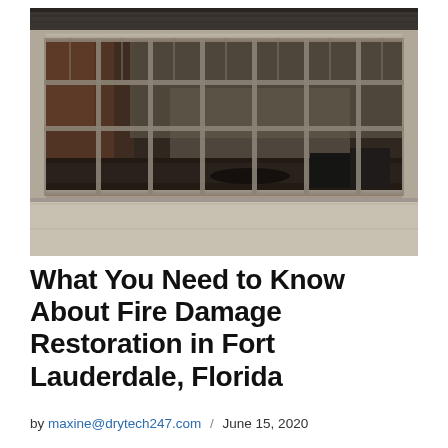[Figure (photo): Fire-damaged interior viewed through a large multi-pane industrial window with metal grid bars. The interior shows scorched walls, debris on the floor, and a dark, abandoned atmosphere. The photo is in monochrome/desaturated tones with some warm reddish-brown hues visible through the window panes.]
What You Need to Know About Fire Damage Restoration in Fort Lauderdale, Florida
by maxine@drytech247.com / June 15, 2020